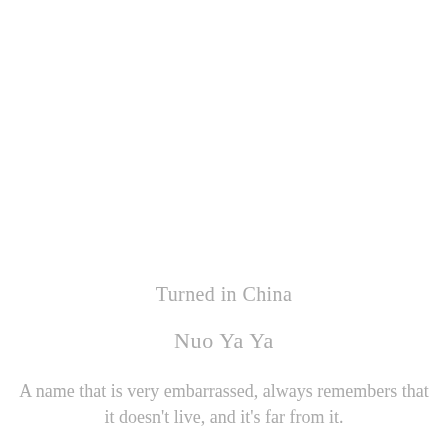Turned in China
Nuo Ya Ya
A name that is very embarrassed, always remembers that it doesn't live, and it's far from it.